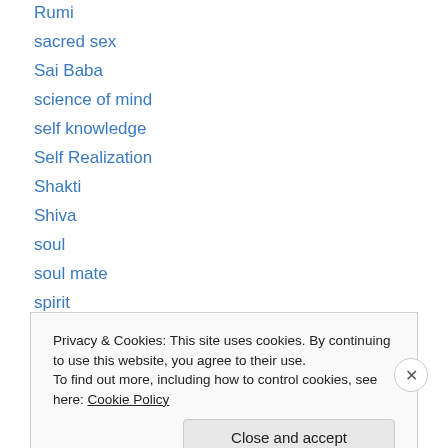Rumi
sacred sex
Sai Baba
science of mind
self knowledge
Self Realization
Shakti
Shiva
soul
soul mate
spirit
spiritual
Spiritual Power
Privacy & Cookies: This site uses cookies. By continuing to use this website, you agree to their use.
To find out more, including how to control cookies, see here: Cookie Policy